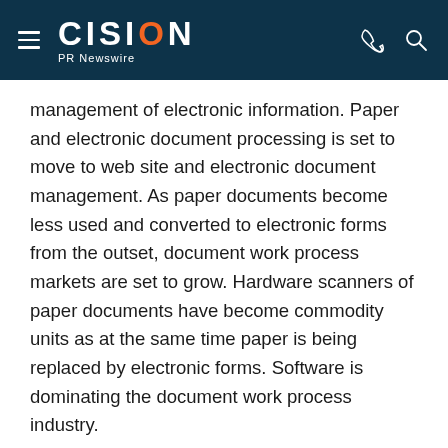CISION PR Newswire
management of electronic information. Paper and electronic document processing is set to move to web site and electronic document management. As paper documents become less used and converted to electronic forms from the outset, document work process markets are set to grow. Hardware scanners of paper documents have become commodity units as at the same time paper is being replaced by electronic forms. Software is dominating the document work process industry.
As tablets and smart phones proliferate, electronic forms available as apps are not far behind. With the advent of apps and sophisticated software, document